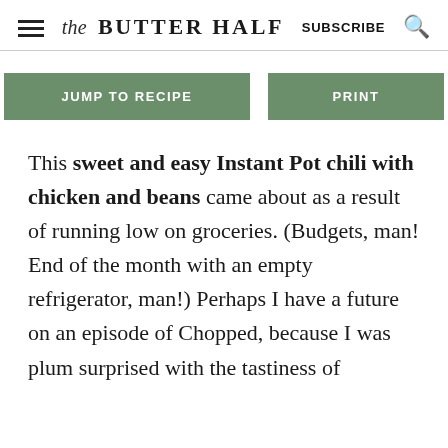the BUTTER HALF  SUBSCRIBE
JUMP TO RECIPE   PRINT
This sweet and easy Instant Pot chili with chicken and beans came about as a result of running low on groceries. (Budgets, man! End of the month with an empty refrigerator, man!) Perhaps I have a future on an episode of Chopped, because I was plum surprised with the tastiness of